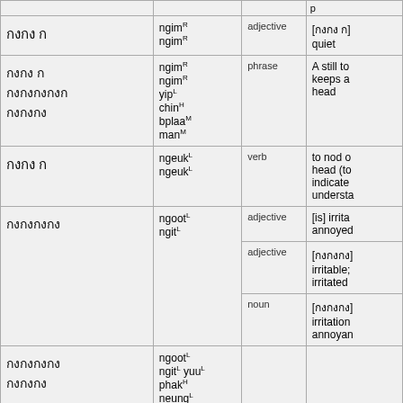| Thai | Romanization | Part of Speech | Meaning |
| --- | --- | --- | --- |
| [Thai script] | ngimR ngimR | adjective | [Thai script] quiet |
| [Thai script] | ngimR ngimR yipL chinH bplaaM manM | phrase | A still to keeps a head |
| [Thai script] | ngeukL ngeukL | verb | to nod o head (to indicate understa |
| [Thai script] | ngootL ngitL | adjective | [is] irrita annoyed |
| [Thai script] | ngootL ngitL | adjective | [Thai script] irritable; irritated |
| [Thai script] | ngootL ngitL | noun | [Thai script] irritation annoyan |
| [Thai script] | ngootL ngitL yuuL phakH neungL |  |  |